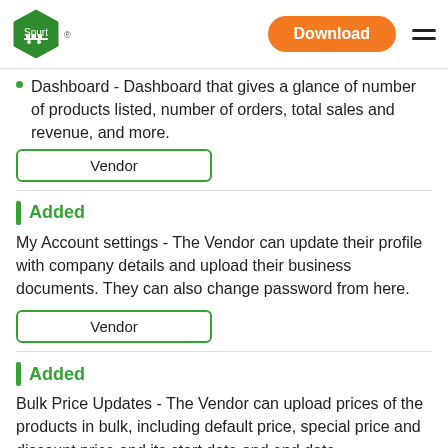Spurt | Download
Dashboard - Dashboard that gives a glance of number of products listed, number of orders, total sales and revenue, and more.
Vendor
Added
My Account settings - The Vendor can update their profile with company details and upload their business documents. They can also change password from here.
Vendor
Added
Bulk Price Updates - The Vendor can upload prices of the products in bulk, including default price, special price and discount price and its start date and end date.